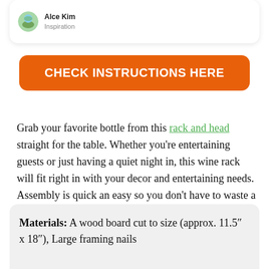[Figure (screenshot): Partial user card showing avatar, name 'Alce Kim' and label 'Inspiration']
CHECK INSTRUCTIONS HERE
Grab your favorite bottle from this rack and head straight for the table. Whether you’re entertaining guests or just having a quiet night in, this wine rack will fit right in with your decor and entertaining needs. Assembly is quick an easy so you don’t have to waste a second to enjoy all this rack has to offer.
Materials: A wood board cut to size (approx. 11.5″ x 18″), Large framing nails